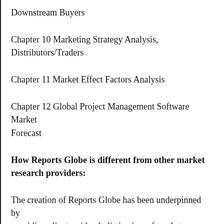Downstream Buyers
Chapter 10 Marketing Strategy Analysis, Distributors/Traders
Chapter 11 Market Effect Factors Analysis
Chapter 12 Global Project Management Software Market Forecast
How Reports Globe is different from other market research providers:
The creation of Reports Globe has been underpinned by providing clients with a holistic view of market conditions